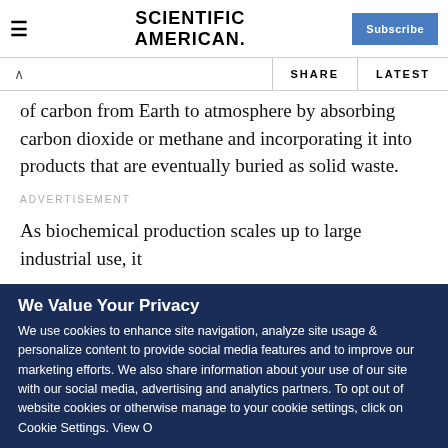SCIENTIFIC AMERICAN
of carbon from Earth to atmosphere by absorbing carbon dioxide or methane and incorporating it into products that are eventually buried as solid waste.
ADVERTISEMENT
As biochemical production scales up to large industrial use, it
We Value Your Privacy
We use cookies to enhance site navigation, analyze site usage & personalize content to provide social media features and to improve our marketing efforts. We also share information about your use of our site with our social media, advertising and analytics partners. To opt out of website cookies or otherwise manage to your cookie settings, click on Cookie Settings. View O